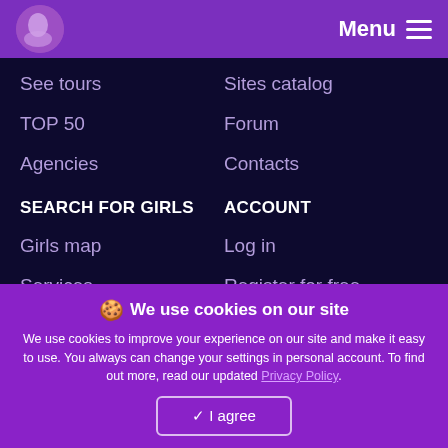Menu
See tours
Sites catalog
TOP 50
Forum
Agencies
Contacts
SEARCH FOR GIRLS
ACCOUNT
Girls map
Log in
Services
Register for free
Webcams
Sitemap
Reviews
We use cookies on our site
We use cookies to improve your experience on our site and make it easy to use. You always can change your settings in personal account. To find out more, read our updated Privacy Policy.
✓ I agree